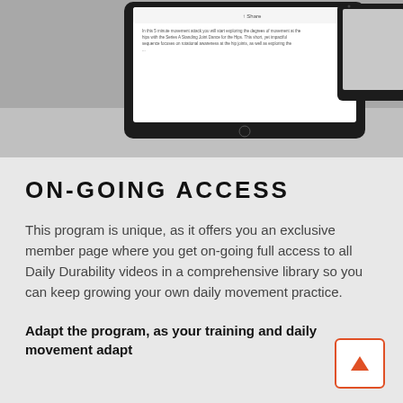[Figure (photo): Two tablet devices showing a content/video app interface, placed on a gray background. The left tablet shows a white screen with text content and a share button. The right tablet is partially visible on the right edge.]
ON-GOING ACCESS
This program is unique, as it offers you an exclusive member page where you get on-going full access to all Daily Durability videos in a comprehensive library so you can keep growing your own daily movement practice.
Adapt the program, as your training and daily movement adapt